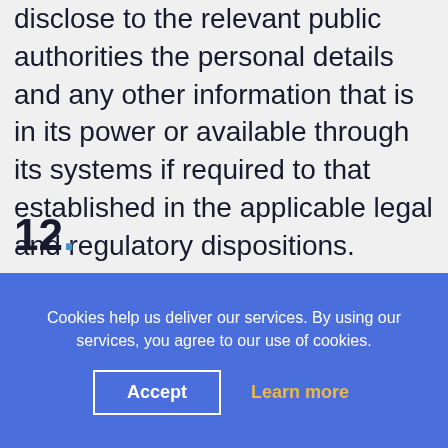disclose to the relevant public authorities the personal details and any other information that is in its power or available through its systems if required to that established in the applicable legal and regulatory dispositions.
12.
The users can exercise their right of
Cookies help us deliver our services. By using our services, you agree to our use of cookies.